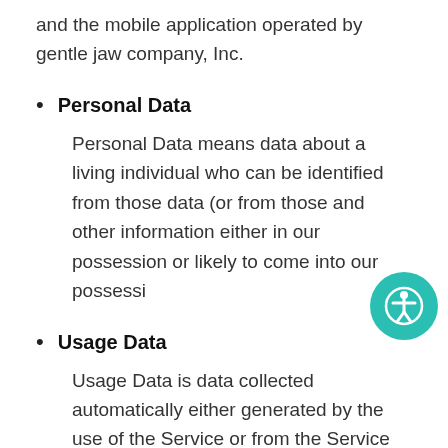and the mobile application operated by gentle jaw company, Inc.
Personal Data
Personal Data means data about a living individual who can be identified from those data (or from those and other information either in our possession or likely to come into our possession.
Usage Data
Usage Data is data collected automatically either generated by the use of the Service or from the Service infrastructure itself (for example, the duration of a page visit).
Cookies
Cookies are small files stored on your device